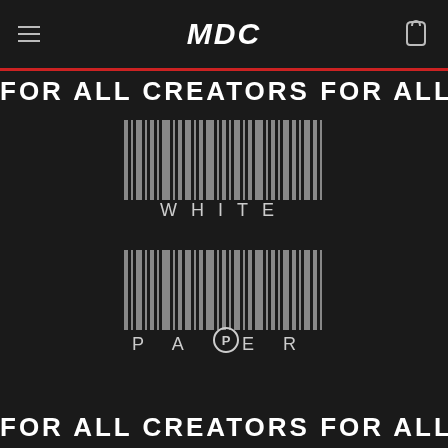MDC
FOR ALL CREATORS FOR ALL
[Figure (logo): Barcode graphic above the word WHITE in spaced letters — White Paper logo top half]
[Figure (logo): Barcode graphic above the word PAPER with the second P enclosed in a circle — White Paper logo bottom half]
FOR ALL CREATORS FOR ALL